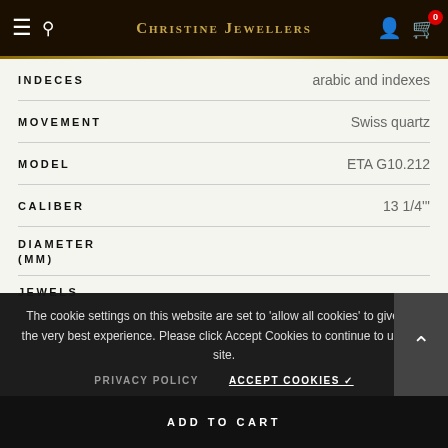Christine Jewellers
| Attribute | Value |
| --- | --- |
| INDECES | arabic and indexes |
| MOVEMENT | Swiss quartz |
| MODEL | ETA G10.212 |
| CALIBER | 13 1/4""" |
| DIAMETER (MM) |  |
| JEWELS |  |
The cookie settings on this website are set to 'allow all cookies' to give you the very best experience. Please click Accept Cookies to continue to use the site.
PRIVACY POLICY    ACCEPT COOKIES ✓
ADD TO CART